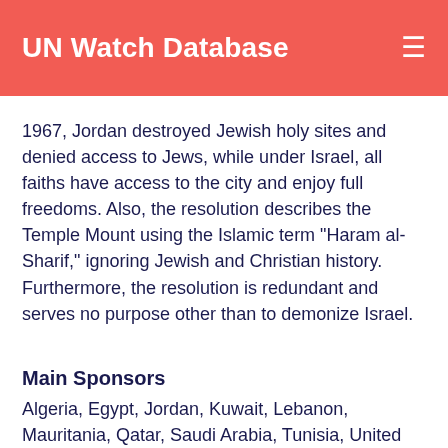UN Watch Database
1967, Jordan destroyed Jewish holy sites and denied access to Jews, while under Israel, all faiths have access to the city and enjoy full freedoms. Also, the resolution describes the Temple Mount using the Islamic term "Haram al-Sharif," ignoring Jewish and Christian history. Furthermore, the resolution is redundant and serves no purpose other than to demonize Israel.
Main Sponsors
Algeria, Egypt, Jordan, Kuwait, Lebanon, Mauritania, Qatar, Saudi Arabia, Tunisia, United Arab Emirates, Venezuela, Yemen, Palestine
Vote